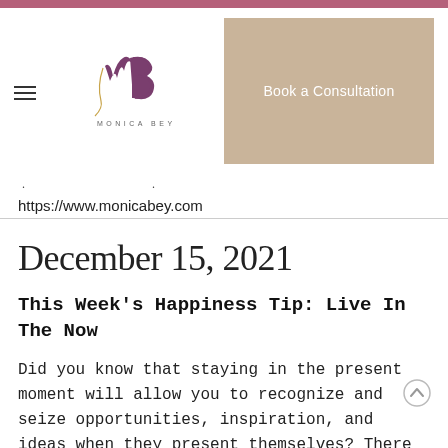[Figure (logo): Monica Bey logo with stylized MB monogram and 'MONICA BEY' text underneath]
Book a Consultation
https://www.monicabey.com
December 15, 2021
This Week's Happiness Tip: Live In The Now
Did you know that staying in the present moment will allow you to recognize and seize opportunities, inspiration, and ideas when they present themselves? There are always